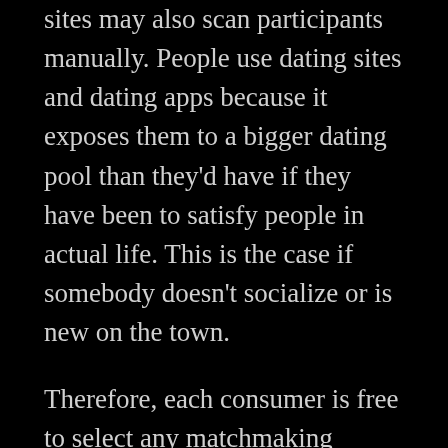sites may also scan participants manually. People use dating sites and dating apps because it exposes them to a bigger dating pool than they'd have if they have been to satisfy people in actual life. This is the case if somebody doesn't socialize or is new on the town.
Therefore, each consumer is free to select any matchmaking useful resource, even if it was not scrutinized by our experts up to now. They supply new entries the final word functionality with many options positioned at their fingertips. Meanwhile, troubles incessantly happen in the searching course of.
And whereas there used to be plenty of individuals looking for all different things, it's now geared far more towards casual dating. Tinder is probably best in a small town where there aren't as many individuals on the extra area of interest apps but undoubtedly know that people are on the lookout for more casual preparations.